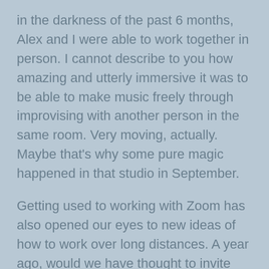in the darkness of the past 6 months, Alex and I were able to work together in person. I cannot describe to you how amazing and utterly immersive it was to be able to make music freely through improvising with another person in the same room. Very moving, actually. Maybe that's why some pure magic happened in that studio in September.
Getting used to working with Zoom has also opened our eyes to new ideas of how to work over long distances. A year ago, would we have thought to invite Lesley into our session when she was 100 miles or so away? If we had, would it have felt as normal as it does now? It was such a worthwhile thing to do. Most immediately, the performer in me really misses playing to people live. Playing live to someone